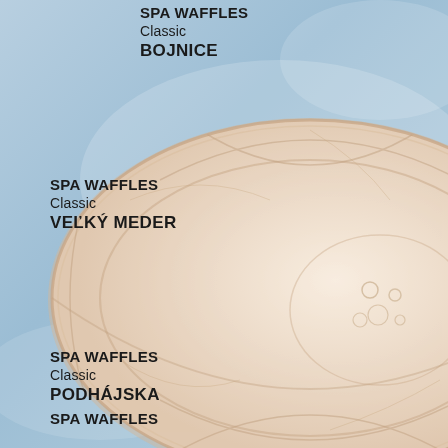[Figure (photo): A large oval cream/beige spa waffle product shown at an angle on a sky-blue background. The waffle has an embossed decorative pattern with circular and curved designs.]
SPA WAFFLES
Classic
BOJNICE
SPA WAFFLES
Classic
VEĽKÝ MEDER
SPA WAFFLES
Classic
PODHÁJSKA
SPA WAFFLES